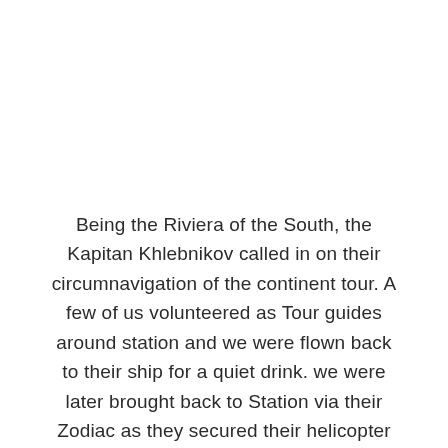Being the Riviera of the South, the Kapitan Khlebnikov called in on their circumnavigation of the continent tour. A few of us volunteered as Tour guides around station and we were flown back to their ship for a quiet drink. we were later brought back to Station via their Zodiac as they secured their helicopter prior to departing.